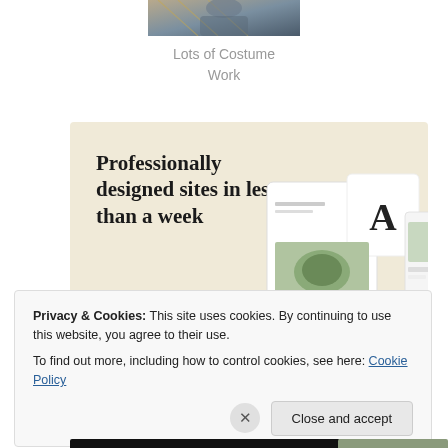[Figure (photo): Partial view of a person wearing patterned costume clothing, shown from shoulders up, cropped at top]
Lots of Costume Work
[Figure (infographic): Advertisement banner with beige/cream background showing text 'Professionally designed sites in less than a week' with a green 'Explore options' button and website mockup images on the right]
Privacy & Cookies: This site uses cookies. By continuing to use this website, you agree to their use.
To find out more, including how to control cookies, see here: Cookie Policy